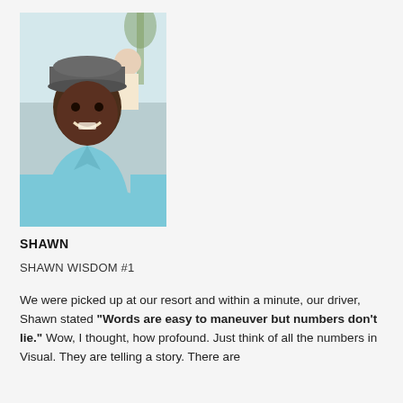[Figure (photo): Smiling young man wearing a gray baseball cap and light blue v-neck t-shirt, photographed outdoors at what appears to be a resort setting]
SHAWN
SHAWN WISDOM #1
We were picked up at our resort and within a minute, our driver, Shawn stated "Words are easy to maneuver but numbers don't lie." Wow, I thought, how profound. Just think of all the numbers in Visual. They are telling a story. There are